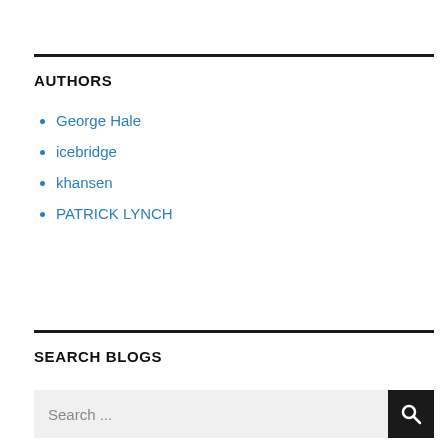AUTHORS
George Hale
icebridge
khansen
PATRICK LYNCH
SEARCH BLOGS
Search ...